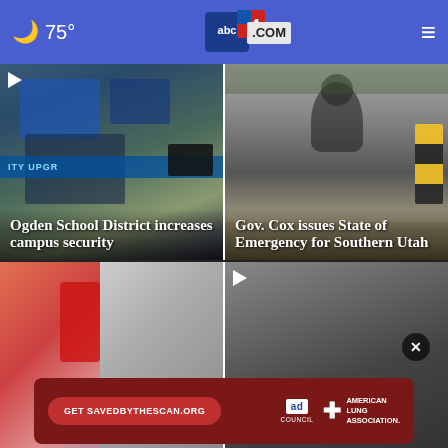🌙 75° — abc4.com
[Figure (screenshot): News thumbnail: security cameras and monitors in a school, with headline overlay 'Ogden School District increases campus security']
Ogden School District increases campus security
[Figure (screenshot): News thumbnail: silhouetted figure in flooded area, with headline overlay 'Gov. Cox issues State of Emergency for Southern Utah']
Gov. Cox issues State of Emergency for Southern Utah
[Figure (photo): Bottom left news card showing partial faces/people]
[Figure (photo): Bottom right news card showing person with play button and close X button]
[Figure (infographic): Ad banner: Get SAVEDBYTHESCAN.ORG — Ad Council — American Lung Association]